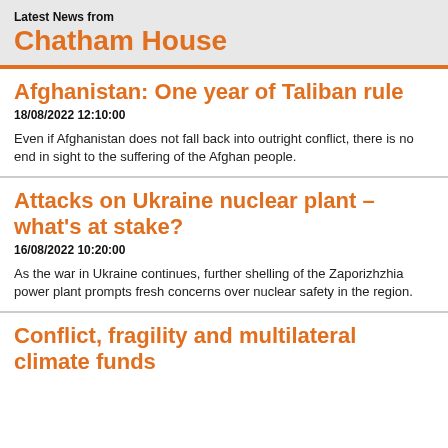Latest News from
Chatham House
Afghanistan: One year of Taliban rule
18/08/2022 12:10:00
Even if Afghanistan does not fall back into outright conflict, there is no end in sight to the suffering of the Afghan people.
Attacks on Ukraine nuclear plant – what's at stake?
16/08/2022 10:20:00
As the war in Ukraine continues, further shelling of the Zaporizhzhia power plant prompts fresh concerns over nuclear safety in the region.
Conflict, fragility and multilateral climate funds